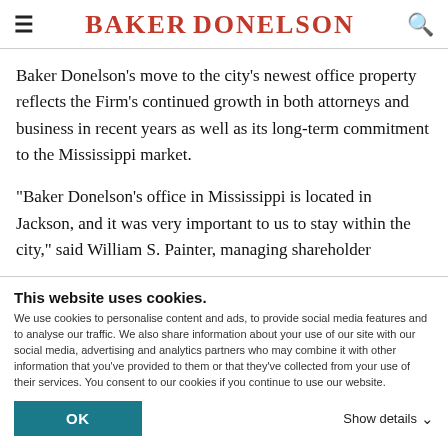BAKER DONELSON
Baker Donelson's move to the city's newest office property reflects the Firm's continued growth in both attorneys and business in recent years as well as its long-term commitment to the Mississippi market.
"Baker Donelson's office in Mississippi is located in Jackson, and it was very important to us to stay within the city," said William S. Painter, managing shareholder
This website uses cookies.
We use cookies to personalise content and ads, to provide social media features and to analyse our traffic. We also share information about your use of our site with our social media, advertising and analytics partners who may combine it with other information that you've provided to them or that they've collected from your use of their services. You consent to our cookies if you continue to use our website.